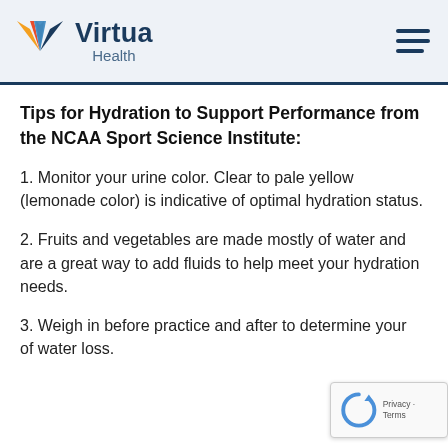[Figure (logo): Virtua Health logo with colorful bird/wing icon and text 'Virtua Health']
Tips for Hydration to Support Performance from the NCAA Sport Science Institute:
1. Monitor your urine color. Clear to pale yellow (lemonade color) is indicative of optimal hydration status.
2. Fruits and vegetables are made mostly of water and are a great way to add fluids to help meet your hydration needs.
3. Weigh in before practice and after to determine your of water loss.